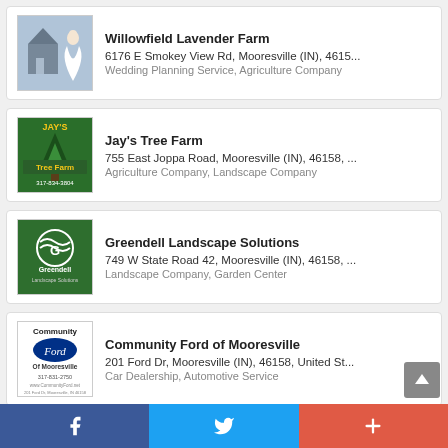Willowfield Lavender Farm
6176 E Smokey View Rd, Mooresville (IN), 4615...
Wedding Planning Service, Agriculture Company
Jay's Tree Farm
755 East Joppa Road, Mooresville (IN), 46158, ...
Agriculture Company, Landscape Company
Greendell Landscape Solutions
749 W State Road 42, Mooresville (IN), 46158, ...
Landscape Company, Garden Center
Community Ford of Mooresville
201 Ford Dr, Mooresville (IN), 46158, United St...
Car Dealership, Automotive Service
F.C. Tucker - Mooresville